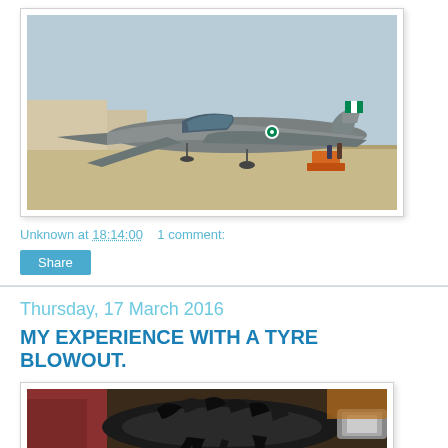[Figure (photo): Military jet aircraft (trainer/fighter) on an airfield tarmac, gray color scheme, with ground equipment visible including an orange tow vehicle. Nigerian Air Force markings visible.]
Unknown at 18:14:00    1 comment:
Share
Thursday, 17 March 2016
MY EXPERIENCE WITH A TYRE BLOWOUT.
[Figure (photo): Close-up photo of a blown-out tyre showing the rubber shredded and separated from the wheel rim, with surrounding ground visible.]